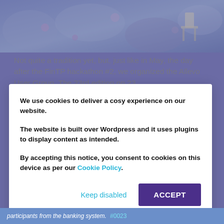[Figure (photo): Partial view of a conference or event venue with decorative carpet/flooring and chairs visible, overlaid with a blue-purple tint]
Not quite a tradition yet, but, just like in May, the day after the FinTP hackathon #2, we organized the Allevo User Group. The 23rd edition on 23.
We use cookies to deliver a cosy experience on our website.

The website is built over Wordpress and it uses plugins to display content as intended.

By accepting this notice, you consent to cookies on this device as per our Cookie Policy.
Keep disabled
ACCEPT
participants from the banking system. #0023